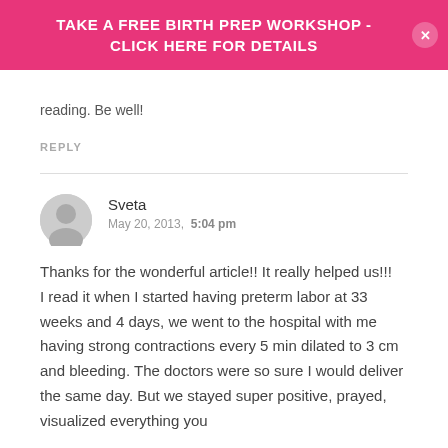TAKE A FREE BIRTH PREP WORKSHOP - CLICK HERE FOR DETAILS
reading. Be well!
REPLY
Sveta
May 20, 2013, 5:04 pm
Thanks for the wonderful article!! It really helped us!!!
I read it when I started having preterm labor at 33 weeks and 4 days, we went to the hospital with me having strong contractions every 5 min dilated to 3 cm and bleeding. The doctors were so sure I would deliver the same day. But we stayed super positive, prayed, visualized everything you